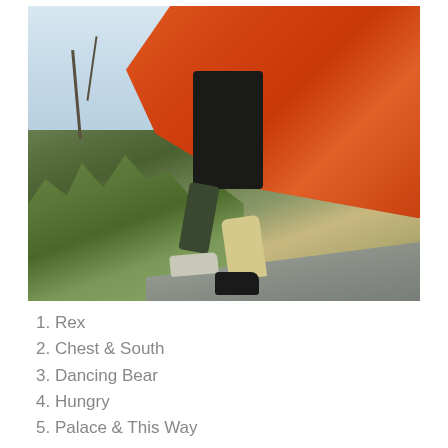[Figure (photo): Person in a flowing orange/red garment running or jumping, photographed from a low angle. The figure's legs are visible with light khaki lower legs and dark shoes. Green bushes and a grey ramp surface are in the foreground. Bare trees and a pale sky are in the background.]
1. Rex
2. Chest & South
3. Dancing Bear
4. Hungry
5. Palace & This Way